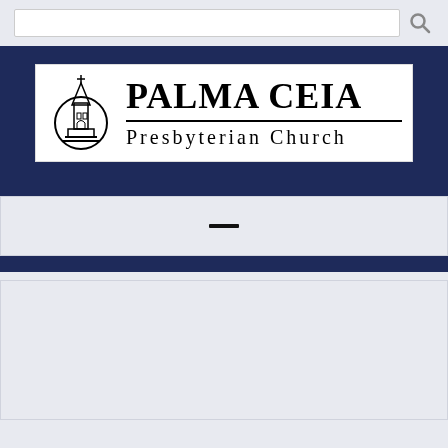[Figure (screenshot): Search bar input field with search icon button on the right, on a light gray background]
[Figure (logo): Palma Ceia Presbyterian Church logo: church steeple icon on the left, large bold text PALMA CEIA on top, horizontal divider line, and Presbyterian Church text below in spaced serif font]
[Figure (other): Light gray content panel with a small black horizontal dash/minus in the center]
[Figure (other): Light gray content panel, mostly empty]